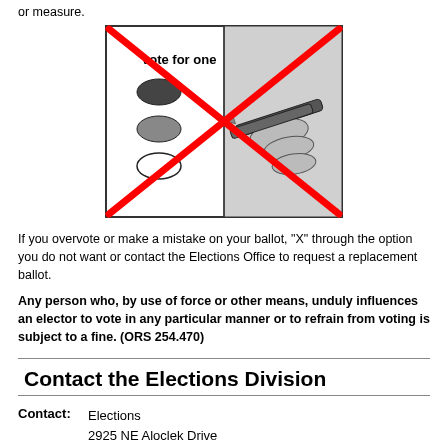or measure.
[Figure (illustration): A ballot illustration showing 'vote for one' with oval bubbles and a hand holding a pencil filling one in, overlaid with a large red X crossing out the entire image, indicating this action is not allowed (overvoting).]
If you overvote or make a mistake on your ballot, "X" through the option you do not want or contact the Elections Office to request a replacement ballot.
Any person who, by use of force or other means, unduly influences an elector to vote in any particular manner or to refrain from voting is subject to a fine. (ORS 254.470)
Contact the Elections Division
Contact: Elections
2925 NE Aloclek Drive
Suite: 170
Hillsboro, OR 97124-7523